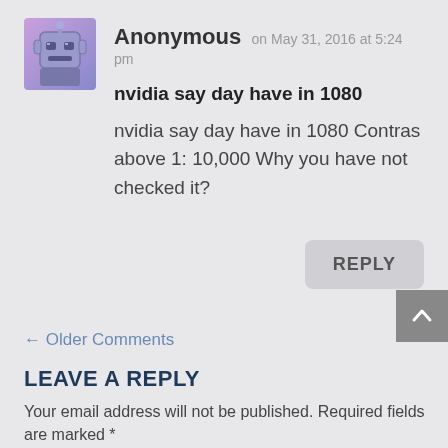Anonymous on May 31, 2016 at 5:24 pm
nvidia say day have in 1080
nvidia say day have in 1080 Contras above 1: 10,000 Why you have not checked it?
REPLY
← Older Comments
LEAVE A REPLY
Your email address will not be published. Required fields are marked *